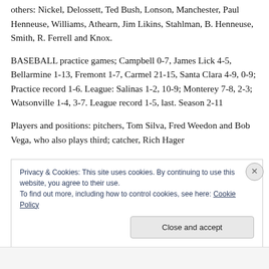others: Nickel, Delossett, Ted Bush, Lonson, Manchester, Paul Henneuse, Williams, Athearn, Jim Likins, Stahlman, B. Henneuse, Smith, R. Ferrell and Knox.
BASEBALL practice games; Campbell 0-7, James Lick 4-5, Bellarmine 1-13, Fremont 1-7, Carmel 21-15, Santa Clara 4-9, 0-9; Practice record 1-6. League: Salinas 1-2, 10-9; Monterey 7-8, 2-3; Watsonville 1-4, 3-7. League record 1-5, last. Season 2-11
Players and positions: pitchers, Tom Silva, Fred Weedon and Bob Vega, who also plays third; catcher, Rich Hager
Privacy & Cookies: This site uses cookies. By continuing to use this website, you agree to their use.
To find out more, including how to control cookies, see here: Cookie Policy
Close and accept